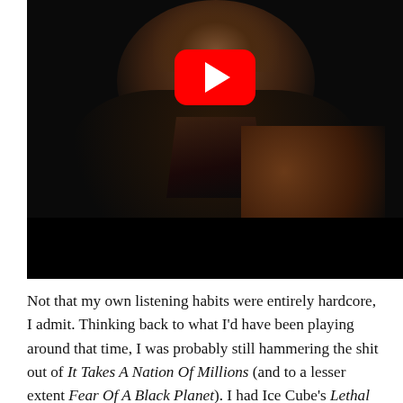[Figure (photo): YouTube video thumbnail showing a person in a dark hoodie against a black background, with a red YouTube play button overlay in the upper center of the image.]
Not that my own listening habits were entirely hardcore, I admit. Thinking back to what I'd have been playing around that time, I was probably still hammering the shit out of It Takes A Nation Of Millions (and to a lesser extent Fear Of A Black Planet). I had Ice Cube's Lethal Injection on heavy rotation. I was squeezing the last drops of juice from Compton's Most Wanted. And I was already…